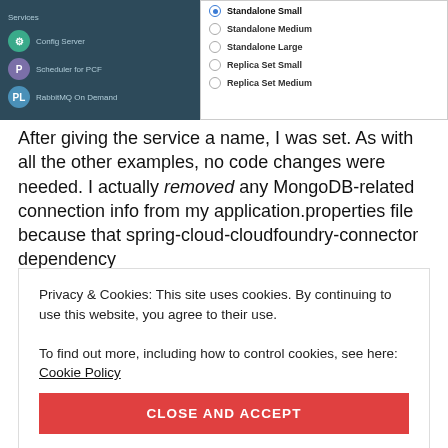[Figure (screenshot): Screenshot of a web UI showing a dark sidebar with menu items (Config Server, Scheduler for PCF, RabbitMQ on Demand) and a panel on the right with radio button options: Standalone Small (selected), Standalone Medium, Standalone Large, Replica Set Small, Replica Set Medium]
After giving the service a name, I was set. As with all the other examples, no code changes were needed. I actually removed any MongoDB-related connection info from my application.properties file because that spring-cloud-cloudfoundry-connector dependency
Privacy & Cookies: This site uses cookies. By continuing to use this website, you agree to their use.
To find out more, including how to control cookies, see here: Cookie Policy
CLOSE AND ACCEPT
creating a declarative file, but I like writing them out.